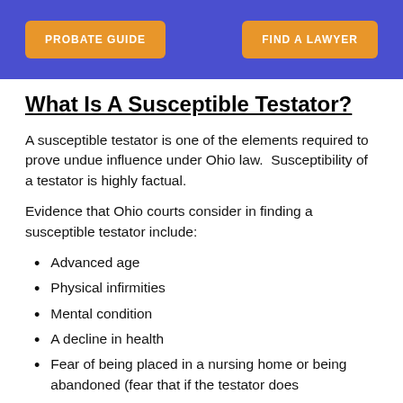PROBATE GUIDE | FIND A LAWYER
What Is A Susceptible Testator?
A susceptible testator is one of the elements required to prove undue influence under Ohio law.  Susceptibility of a testator is highly factual.
Evidence that Ohio courts consider in finding a susceptible testator include:
Advanced age
Physical infirmities
Mental condition
A decline in health
Fear of being placed in a nursing home or being abandoned (fear that if the testator does